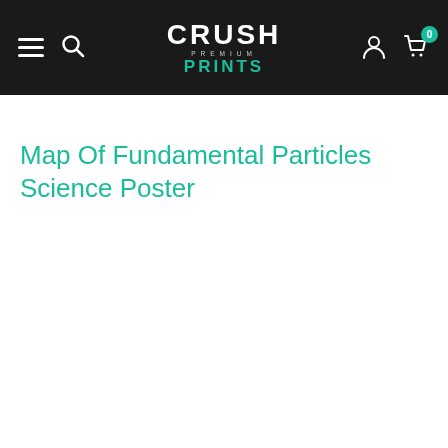Crush Premium Prints — navigation bar with hamburger menu, search icon, logo, user icon, and cart (0)
Map Of Fundamental Particles Science Poster